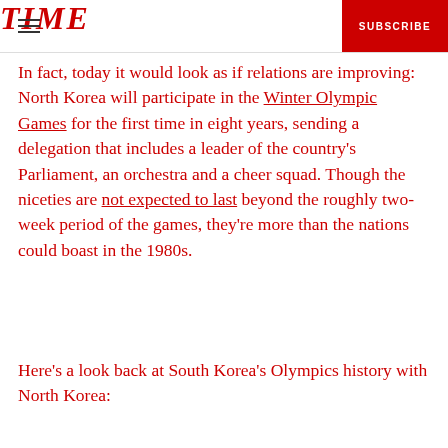TIME — SUBSCRIBE
In fact, today it would look as if relations are improving: North Korea will participate in the Winter Olympic Games for the first time in eight years, sending a delegation that includes a leader of the country's Parliament, an orchestra and a cheer squad. Though the niceties are not expected to last beyond the roughly two-week period of the games, they're more than the nations could boast in the 1980s.
Here's a look back at South Korea's Olympics history with North Korea: